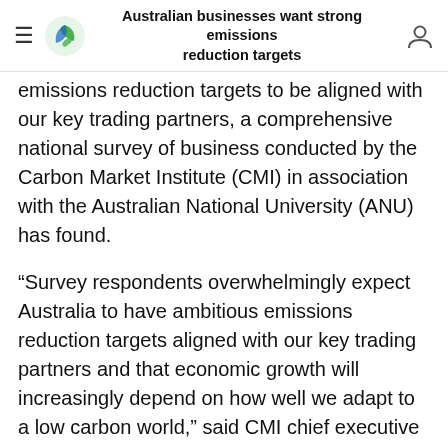Australian businesses want strong emissions reduction targets
emissions reduction targets to be aligned with our key trading partners, a comprehensive national survey of business conducted by the Carbon Market Institute (CMI) in association with the Australian National University (ANU) has found.
“Survey respondents overwhelmingly expect Australia to have ambitious emissions reduction targets aligned with our key trading partners and that economic growth will increasingly depend on how well we adapt to a low carbon world,” said CMI chief executive officer Peter Castellas.
Releasing the full report following the significant announcements by China and the US to set strong post-2020 targets, the survey found around 80 per cent of survey respondents said that Australia should look to